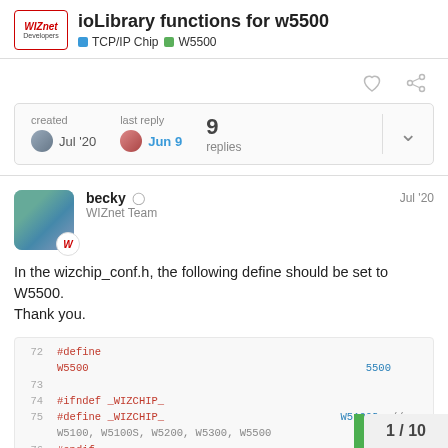ioLibrary functions for w5500 — TCP/IP Chip | W5500
created Jul '20   last reply Jun 9   9 replies
becky ◉   WIZnet Team   Jul '20
In the wizchip_conf.h, the following define should be set to W5500.
Thank you.
[Figure (screenshot): Code snippet showing lines 72-77 of wizchip_conf.h: #define W5500 5500, #ifndef _WIZCHIP_, #define _WIZCHIP_ W5100S // W5100, W5100S, W5200, W5300, W5500, #endif]
1 / 10